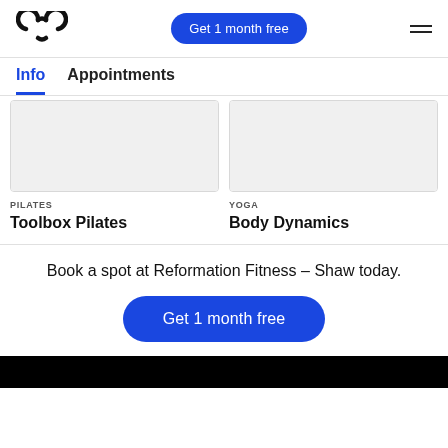Logo | Get 1 month free | Menu
Info  Appointments
[Figure (other): Two rectangular image cards side by side - left card (Pilates/Toolbox Pilates) and right card (Yoga/Body Dynamics), showing blank placeholder image areas with borders]
PILATES
Toolbox Pilates
YOGA
Body Dynamics
Book a spot at Reformation Fitness – Shaw today.
Get 1 month free